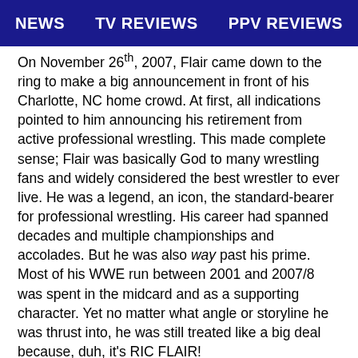NEWS   TV REVIEWS   PPV REVIEWS
On November 26th, 2007, Flair came down to the ring to make a big announcement in front of his Charlotte, NC home crowd. At first, all indications pointed to him announcing his retirement from active professional wrestling. This made complete sense; Flair was basically God to many wrestling fans and widely considered the best wrestler to ever live. He was a legend, an icon, the standard-bearer for professional wrestling. His career had spanned decades and multiple championships and accolades. But he was also way past his prime. Most of his WWE run between 2001 and 2007/8 was spent in the midcard and as a supporting character. Yet no matter what angle or storyline he was thrust into, he was still treated like a big deal because, duh, it's RIC FLAIR!